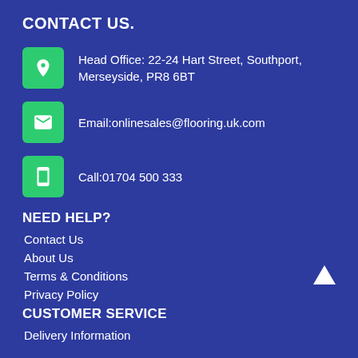CONTACT US.
Head Office: 22-24 Hart Street, Southport, Merseyside, PR8 6BT
Email:onlinesales@flooring.uk.com
Call:01704 500 333
NEED HELP?
Contact Us
About Us
Terms & Conditions
Privacy Policy
CUSTOMER SERVICE
Delivery Information